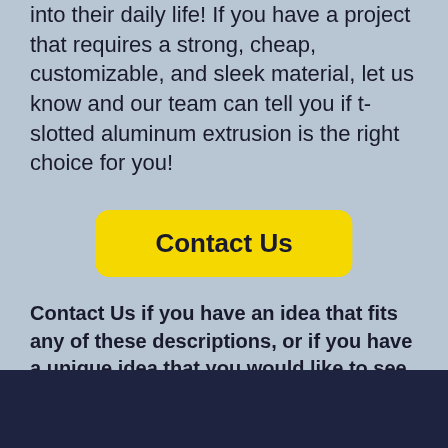into their daily life! If you have a project that requires a strong, cheap, customizable, and sleek material, let us know and our team can tell you if t-slotted aluminum extrusion is the right choice for you!
[Figure (other): Yellow 'Contact Us' button with rounded corners on light blue background]
Contact Us if you have an idea that fits any of these descriptions, or if you have a unique idea that you would like to see built.
Alufab